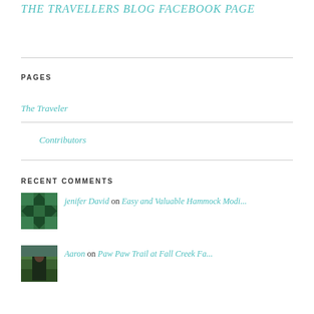The Travellers Blog Facebook Page
PAGES
The Traveler
Contributors
RECENT COMMENTS
jenifer David on Easy and Valuable Hammock Modi...
Aaron on Paw Paw Trail at Fall Creek Fa...